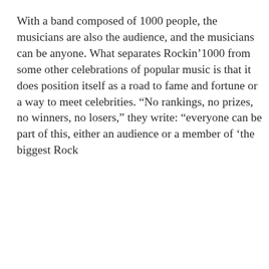With a band composed of 1000 people, the musicians are also the audience, and the musicians can be anyone. What separates Rockin’1000 from some other celebrations of popular music is that it does position itself as a road to fame and fortune or a way to meet celebrities. “No rankings, no prizes, no winners, no losers,” they write: “everyone can be part of this, either an audience or a member of ‘the biggest Rock
Open Culture (openculture.com) and our trusted partners use technology such as cookies on our website to personalise ads, support social media features, and analyze our traffic. Please click below to consent to the use of this technology while browsing our site.
Cookie settings
ACCEPT